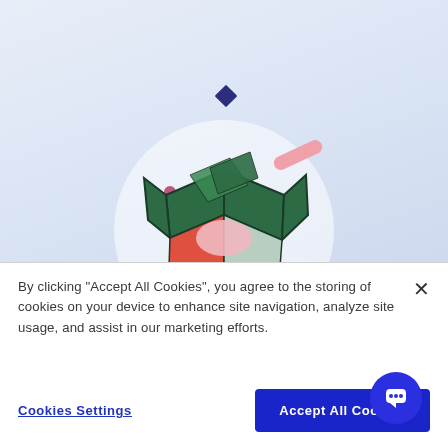[Figure (illustration): Open box illustration with colorful geometric shapes (green lid panels, red and light gray box body, pink circle, teal circle, pink diagonal bar, dark blue diamond shape floating above) on a light blue gradient background with a white circle behind the box.]
By clicking “Accept All Cookies”, you agree to the storing of cookies on your device to enhance site navigation, analyze site usage, and assist in our marketing efforts.
Cookies Settings
Accept All Cookies